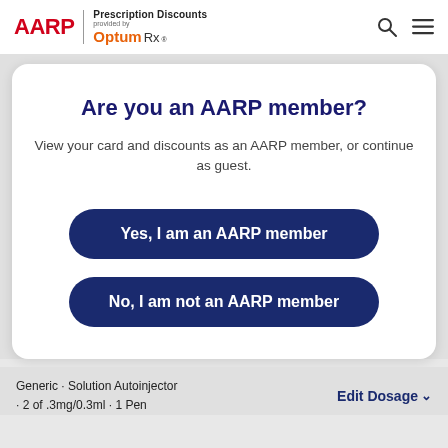AARP Prescription Discounts provided by Optum Rx
Are you an AARP member?
View your card and discounts as an AARP member, or continue as guest.
Yes, I am an AARP member
No, I am not an AARP member
Generic · Solution Autoinjector · 2 of 3mg/0.3ml · 1 Pen
Edit Dosage